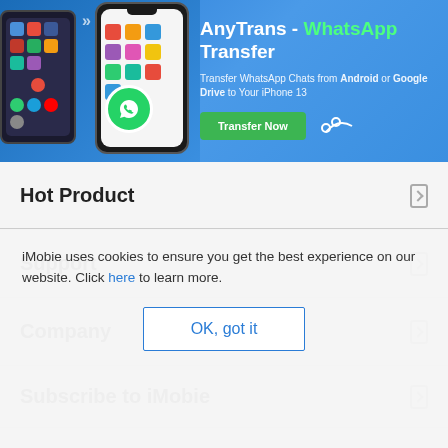[Figure (screenshot): AnyTrans WhatsApp Transfer advertisement banner with two smartphones and green Transfer Now button]
Hot Product
Support
Company
Subscribe to iMobie
iMobie uses cookies to ensure you get the best experience on our website. Click here to learn more.
OK, got it